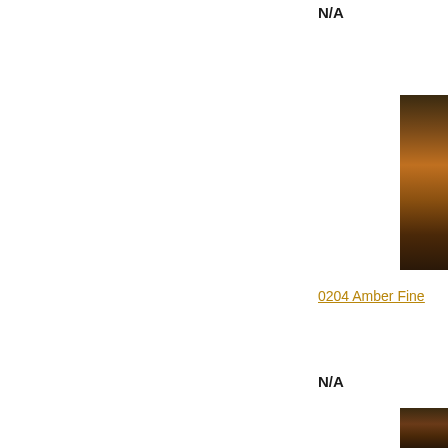N/A
[Figure (photo): Partial view of an amber or dark-colored decorative object, cropped at right edge]
0204 Amber Fine
N/A
[Figure (photo): Partial view of another amber or dark-colored decorative object, cropped at right edge, partially visible]